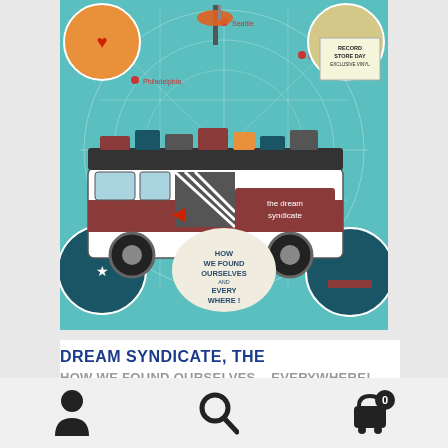[Figure (photo): Album cover artwork for 'How We Found Ourselves... Everywhere!' by The Dream Syndicate. Illustrated teal/blue background showing a vintage van with 'the dream syndicate' written on the side, a globe with city location markers (Seattle, Philadelphia, Boise, Venice, Richmond), decorative circular illustrations in the corners, a Space Needle, a central text bubble reading 'HOW WE FOUND OURSELVES AND EVERYWHERE!', and a Record Store Day Exclusive Vinyl badge in the top right.]
DREAM SYNDICATE, THE
HOW WE FOUND OURSELVES... EVERYWHERE!